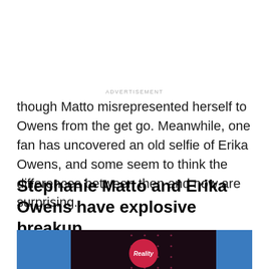ADVERTISEMENT
though Matto misrepresented herself to Owens from the get go. Meanwhile, one fan has uncovered an old selfie of Erika Owens, and some seem to think the differences between then and now are surprising.
Stephanie Matto and Erika Owens have explosive breakup
[Figure (photo): TV studio stage with blue panels on either side, dark background with pink/red bokeh dots, and a circular red Reality badge/logo in the center bottom area.]